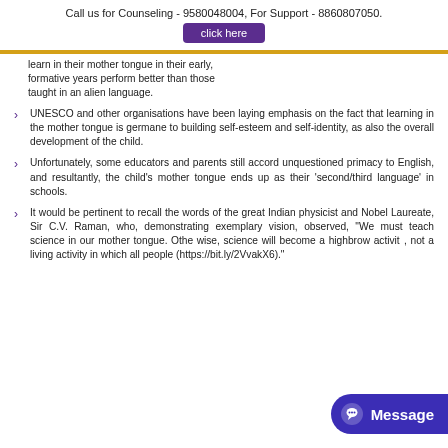Call us for Counseling - 9580048004, For Support - 8860807050.
click here
learn in their mother tongue in their early, formative years perform better than those taught in an alien language.
UNESCO and other organisations have been laying emphasis on the fact that learning in the mother tongue is germane to building self-esteem and self-identity, as also the overall development of the child.
Unfortunately, some educators and parents still accord unquestioned primacy to English, and resultantly, the child’s mother tongue ends up as their ‘second/third language’ in schools.
It would be pertinent to recall the words of the great Indian physicist and Nobel Laureate, Sir C.V. Raman, who, demonstrating exemplary vision, observed, “We must teach science in our mother tongue. Othe... ...wise, science will become a highbrow activit... ...y in schools, not a living activity in which all people... ... can participate.” (https://bit.ly/2VvakX6).